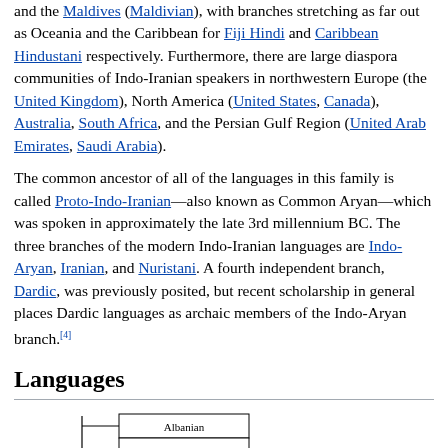and the Maldives (Maldivian), with branches stretching as far out as Oceania and the Caribbean for Fiji Hindi and Caribbean Hindustani respectively. Furthermore, there are large diaspora communities of Indo-Iranian speakers in northwestern Europe (the United Kingdom), North America (United States, Canada), Australia, South Africa, and the Persian Gulf Region (United Arab Emirates, Saudi Arabia).
The common ancestor of all of the languages in this family is called Proto-Indo-Iranian—also known as Common Aryan—which was spoken in approximately the late 3rd millennium BC. The three branches of the modern Indo-Iranian languages are Indo-Aryan, Iranian, and Nuristani. A fourth independent branch, Dardic, was previously posited, but recent scholarship in general places Dardic languages as archaic members of the Indo-Aryan branch.[4]
Languages
[Figure (flowchart): Partial phylogenetic tree showing Indo-European language branches including Albanian, Armenian, Balto-Slavic, Celtic, and European (partially visible)]